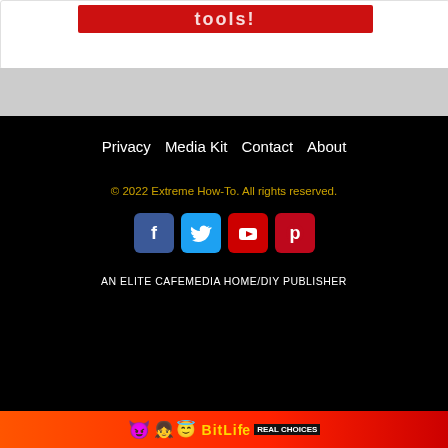[Figure (screenshot): Top portion showing a white card with a red banner, followed by a gray section, then a black footer with navigation links, copyright, social media icons, publisher text, and an advertisement banner at the bottom.]
Privacy   Media Kit   Contact   About
© 2022 Extreme How-To. All rights reserved.
AN ELITE CAFEMEDIA HOME/DIY PUBLISHER
[Figure (screenshot): BitLife Real Choices advertisement banner with emoji characters and red/orange background]